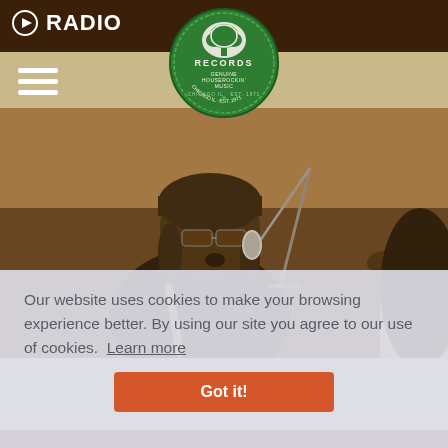▶ RADIO
[Figure (logo): Alligator Records circular logo — green circle with tree illustration, text 'RECORDS', 'GENUINE HOUSEROCKIN' MUSIC', 'CHICAGO IL EST. 1971']
[Figure (photo): Black male musician wearing a dark beanie hat and sunglasses, singing into a microphone, with a guitar strap visible, performing live on stage]
Our website uses cookies to make your browsing experience better. By using our site you agree to our use of cookies.  Learn more
Got it!